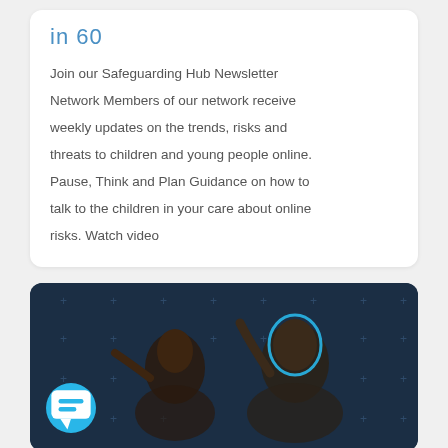in 60
Join our Safeguarding Hub Newsletter Network Members of our network receive weekly updates on the trends, risks and threats to children and young people online. Pause, Think and Plan Guidance on how to talk to the children in your care about online risks. Watch video
[Figure (photo): Dark background image showing two people, one with a cyan/blue outline highlight around their head, with plus/cross marks scattered in the background. A cyan chat bubble icon is visible in the bottom left.]